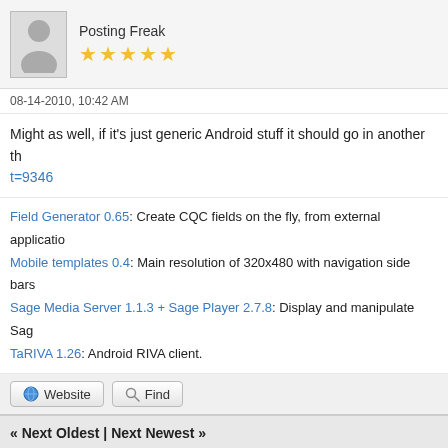[Figure (illustration): User avatar silhouette with username 'Posting Freak' and 5 yellow stars rating]
08-14-2010, 10:42 AM
Might as well, if it's just generic Android stuff it should go in another th... t=9346
Field Generator 0.65: Create CQC fields on the fly, from external applicatio...
Mobile templates 0.4: Main resolution of 320x480 with navigation side bars...
Sage Media Server 1.1.3 + Sage Player 2.7.8: Display and manipulate Sag...
TaRIVA 1.26: Android RIVA client.
Website   Find
« Next Oldest | Next Newest »
Pages (4):  « Previous  1  2  3  4
Possib
Thread